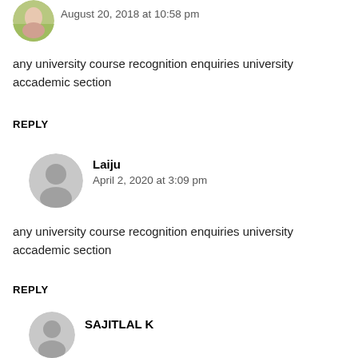[Figure (photo): Small circular avatar photo of a person outdoors on green grass background]
August 20, 2018 at 10:58 pm
any university course recognition enquiries university accademic section
REPLY
[Figure (illustration): Gray circular default avatar placeholder with person silhouette]
Laiju
April 2, 2020 at 3:09 pm
any university course recognition enquiries university accademic section
REPLY
[Figure (illustration): Gray circular default avatar placeholder with person silhouette]
SAJITLAL K